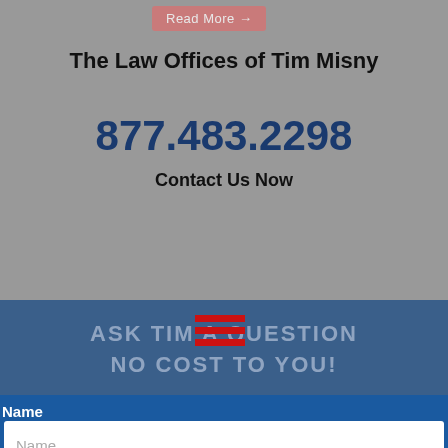Read More →
The Law Offices of Tim Misny
877.483.2298
Contact Us Now
ASK TIM A QUESTION NO COST TO YOU!
Name
Name (placeholder)
Email
Email (placeholder)
Telephone
1-555-555-5555 (placeholder)